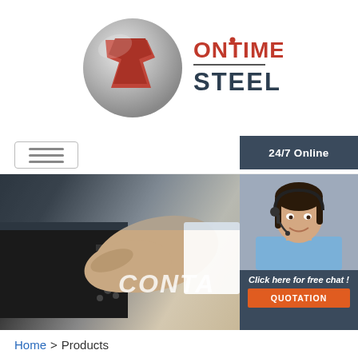[Figure (logo): OnTime Steel company logo with stylized steel sheet icon and text 'ONTIME STEEL' in red and dark colors]
[Figure (photo): Two people shaking hands in business setting, handshake photo with blurred background, text overlay 'CONTA' visible]
[Figure (photo): 24/7 Online customer service representative - woman wearing headset, smiling, with '24/7 Online' banner and 'Click here for free chat!' text plus orange QUOTATION button]
Home > Products
fast delivery 90 degree stainless steel right angle